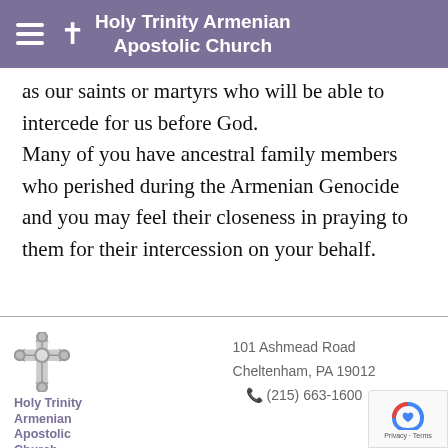Holy Trinity Armenian Apostolic Church
as our saints or martyrs who will be able to intercede for us before God. Many of you have ancestral family members who perished during the Armenian Genocide and you may feel their closeness in praying to them for their intercession on your behalf.
Holy Trinity Armenian Apostolic Church
101 Ashmead Road
Cheltenham, PA 19012
(215) 663-1600